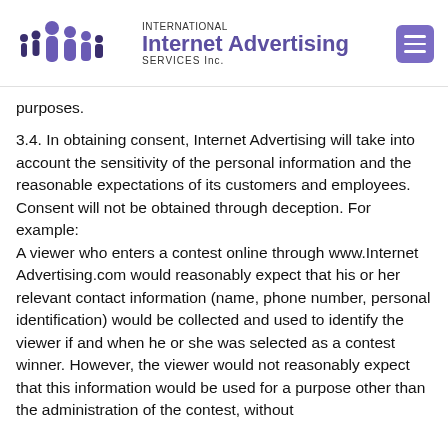[Figure (logo): International Internet Advertising Services Inc. logo with stylized human figures in purple and a hamburger menu icon]
purposes.
3.4. In obtaining consent, Internet Advertising will take into account the sensitivity of the personal information and the reasonable expectations of its customers and employees. Consent will not be obtained through deception. For example:
A viewer who enters a contest online through www.Internet Advertising.com would reasonably expect that his or her relevant contact information (name, phone number, personal identification) would be collected and used to identify the viewer if and when he or she was selected as a contest winner. However, the viewer would not reasonably expect that this information would be used for a purpose other than the administration of the contest, without